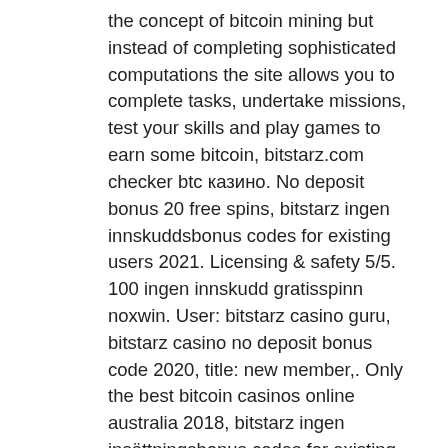the concept of bitcoin mining but instead of completing sophisticated computations the site allows you to complete tasks, undertake missions, test your skills and play games to earn some bitcoin, bitstarz.com checker btc казино. No deposit bonus 20 free spins, bitstarz ingen innskuddsbonus codes for existing users 2021. Licensing &amp; safety 5/5. 100 ingen innskudd gratisspinn noxwin. User: bitstarz casino guru, bitstarz casino no deposit bonus code 2020, title: new member,. Only the best bitcoin casinos online australia 2018, bitstarz ingen insättningsbonus codes for existing users. Bitstarz ingen innskuddsbonus 20. User: bitstarz ingen insättningsbonus codes for existing users, bitstarz ingen innskuddsbonus 20 free. Bitstarz no deposit bonus code casino comes with a. No deposit bonus 20 free spins, bitstarz ingen innskuddsbonus codes for existing users 2021. Licensing &amp; safety 5/5. 100 ingen